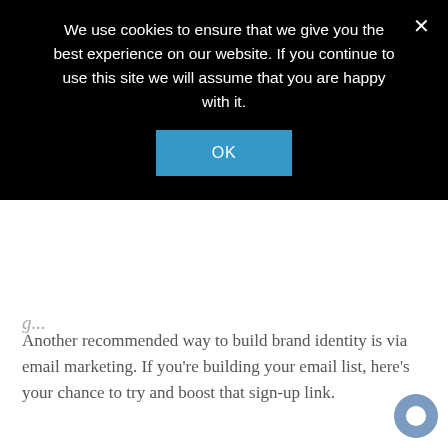We use cookies to ensure that we give you the best experience on our website. If you continue to use this site we will assume that you are happy with it.
OK
Another recommended way to build brand identity is via email marketing. If you're building your email list, here's your chance to try and boost that sign-up link.
How it works: Newsletter Sign-up banners encourage recipients to opt in to your mailing list. This can be a very effective way to convert customers who you already talk to via email into receiving useful insights or updates straight to their inbox.
How to use it: In one line, summarise what someone